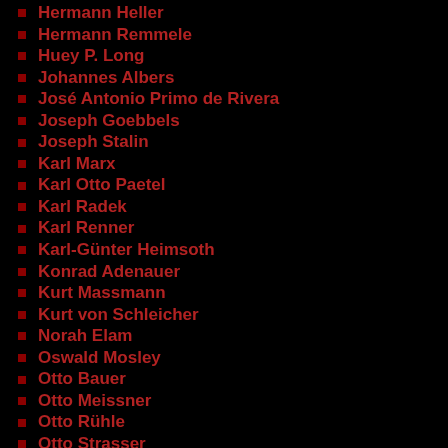Hermann Heller
Hermann Remmele
Huey P. Long
Johannes Albers
José Antonio Primo de Rivera
Joseph Goebbels
Joseph Stalin
Karl Marx
Karl Otto Paetel
Karl Radek
Karl Renner
Karl-Günter Heimsoth
Konrad Adenauer
Kurt Massmann
Kurt von Schleicher
Norah Elam
Oswald Mosley
Otto Bauer
Otto Meissner
Otto Rühle
Otto Strasser
Otto Wagener
Rajani Palme Dutt
Richard Scheringer